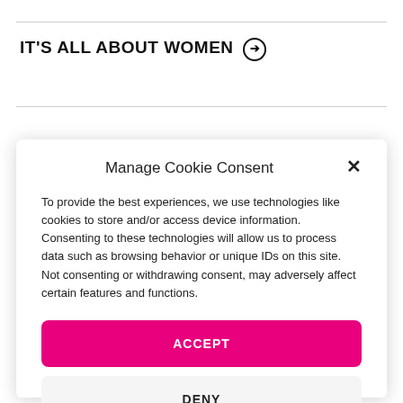IT'S ALL ABOUT WOMEN →
Manage Cookie Consent
To provide the best experiences, we use technologies like cookies to store and/or access device information. Consenting to these technologies will allow us to process data such as browsing behavior or unique IDs on this site. Not consenting or withdrawing consent, may adversely affect certain features and functions.
ACCEPT
DENY
VIEW PREFERENCES
Terms & Conditions